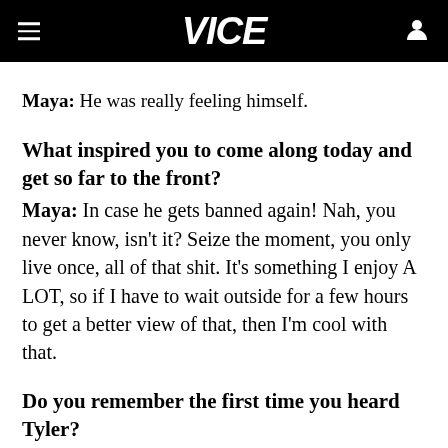VICE
Maya: He was really feeling himself.
What inspired you to come along today and get so far to the front?
Maya: In case he gets banned again! Nah, you never know, isn't it? Seize the moment, you only live once, all of that shit. It's something I enjoy A LOT, so if I have to wait outside for a few hours to get a better view of that, then I'm cool with that.
Do you remember the first time you heard Tyler?